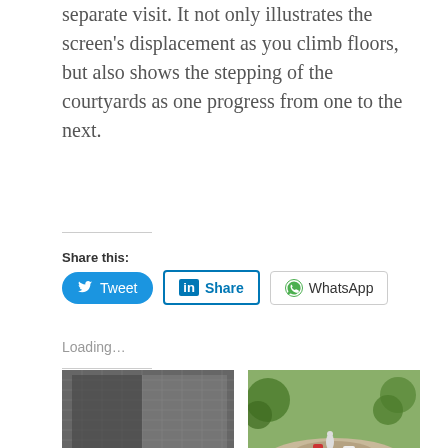separate visit. It not only illustrates the screen's displacement as you climb floors, but also shows the stepping of the courtyards as one progress from one to the next.
Share this:
[Figure (screenshot): Social share buttons: Tweet (Twitter/blue), Share (LinkedIn/blue outlined), WhatsApp (outlined with green WhatsApp icon)]
Loading...
Related
[Figure (photo): Black and white photograph of a building facade with textured brickwork and a grid-like facade pattern]
[Figure (photo): Color photograph of an outdoor courtyard or garden area with people sitting on chairs around a circular platform, trees in background]